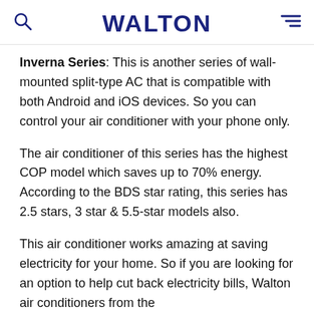WALTON
Inverna Series: This is another series of wall-mounted split-type AC that is compatible with both Android and iOS devices. So you can control your air conditioner with your phone only.
The air conditioner of this series has the highest COP model which saves up to 70% energy. According to the BDS star rating, this series has 2.5 stars, 3 star & 5.5-star models also.
This air conditioner works amazing at saving electricity for your home. So if you are looking for an option to help cut back electricity bills, Walton air conditioners from the